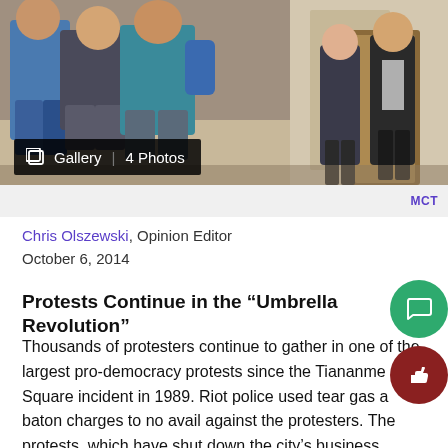[Figure (photo): Photograph of protesters walking on a street, people in casual clothes; on the right side men in suits near a building entrance. Gallery badge overlay reading 'Gallery | 4 Photos'.]
MCT
Chris Olszewski, Opinion Editor
October 6, 2014
Protests Continue in the “Umbrella Revolution”
Thousands of protesters continue to gather in one of the largest pro-democracy protests since the Tiananmen Square incident in 1989. Riot police used tear gas and baton charges to no avail against the protesters. The protests, which have shut down the city’s business district, stemmed from Chinese refusal to allow Hong